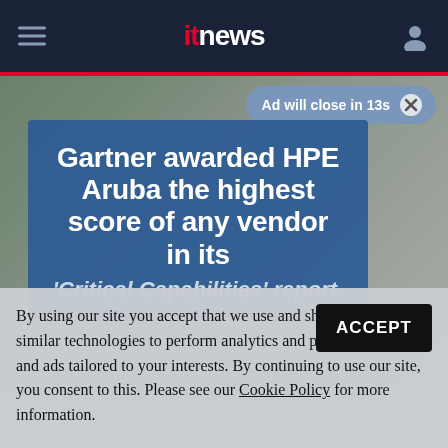itnews
[Figure (screenshot): Ad countdown banner: 'Ad will close in 13s' with close button]
[Figure (photo): Blue overlay advertisement card on top of article background image. Text reads: Gartner awarded HPE Aruba the highest score of any vendor in its 'Critical Capabilities' report.]
By using our site you accept that we use and share cookies and similar technologies to perform analytics and provide content and ads tailored to your interests. By continuing to use our site, you consent to this. Please see our Cookie Policy for more information.